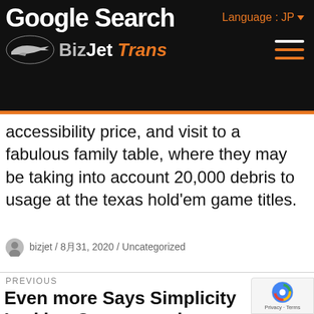Google Search — BizJet Trans — Language: JP
accessibility price, and visit to a fabulous family table, where they may be taking into account 20,000 debris to usage at the texas hold'em game titles.
bizjet / 8月31, 2020 / Uncategorized
PREVIOUS
Even more Says Simplicity Lurking Computer virus Guidelines As Vac Prices Rise